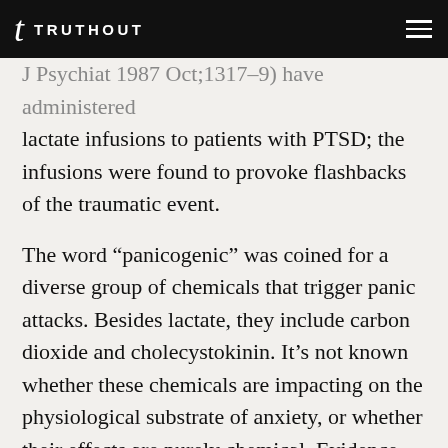t TRUTHOUT
J Psychiat 1987 Oct;1317–9) have administered lactate infusions to patients with PTSD; the infusions were found to provoke flashbacks of the traumatic event.
The word “panicogenic” was coined for a diverse group of chemicals that trigger panic attacks. Besides lactate, they include carbon dioxide and cholecystokinin. It’s not known whether these chemicals are impacting on the physiological substrate of anxiety, or whether their effects are purely chemical. Evidence for